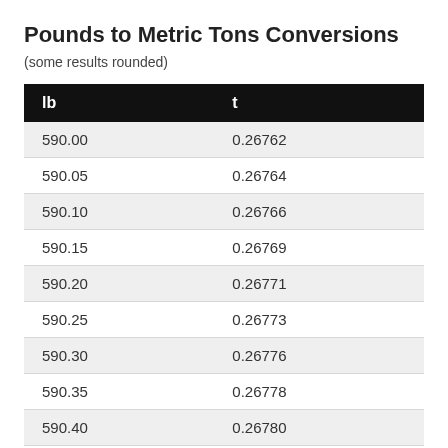Pounds to Metric Tons Conversions
(some results rounded)
| lb | t |
| --- | --- |
| 590.00 | 0.26762 |
| 590.05 | 0.26764 |
| 590.10 | 0.26766 |
| 590.15 | 0.26769 |
| 590.20 | 0.26771 |
| 590.25 | 0.26773 |
| 590.30 | 0.26776 |
| 590.35 | 0.26778 |
| 590.40 | 0.26780 |
| 590.45 | 0.26782 |